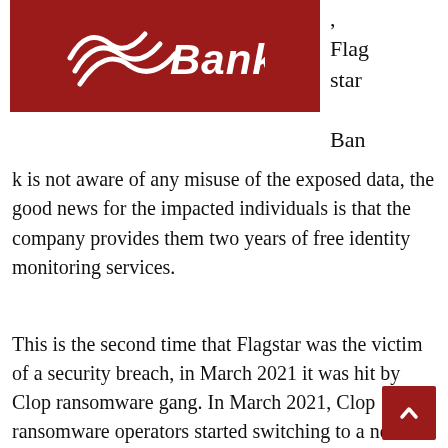[Figure (logo): Flagstar Bank logo on dark red/maroon background with white wave swoosh graphics and 'Bank' text in white italic bold font]
, Flagstar Bank is not aware of any misuse of the exposed data, the good news for the impacted individuals is that the company provides them two years of free identity monitoring services.
This is the second time that Flagstar was the victim of a security breach, in March 2021 it was hit by Clop ransomware gang. In March 2021, Clop ransomware operators started switching to a new tactic to force